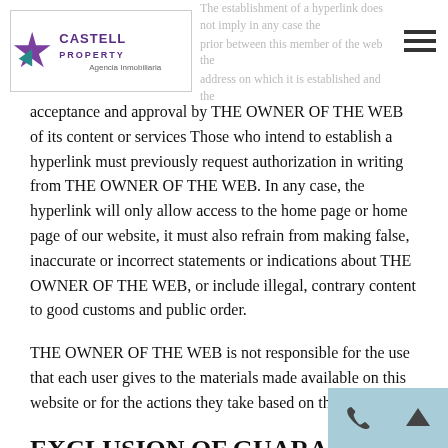Castell Property - Agencia Inmobiliaria
acceptance and approval by THE OWNER OF THE WEB of its content or services Those who intend to establish a hyperlink must previously request authorization in writing from THE OWNER OF THE WEB. In any case, the hyperlink will only allow access to the home page or home page of our website, it must also refrain from making false, inaccurate or incorrect statements or indications about THE OWNER OF THE WEB, or include illegal, contrary content to good customs and public order.
THE OWNER OF THE WEB is not responsible for the use that each user gives to the materials made available on this website or for the actions they take based on them.
EXCLUSION OF GUARANTEES AND LIABILITY